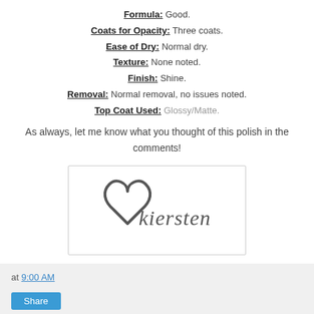Formula: Good.
Coats for Opacity: Three coats.
Ease of Dry: Normal dry.
Texture: None noted.
Finish: Shine.
Removal: Normal removal, no issues noted.
Top Coat Used: Glossy/Matte.
As always, let me know what you thought of this polish in the comments!
[Figure (illustration): Hand-drawn heart logo with cursive text 'kiersten' signature inside a bordered box]
at 9:00 AM
Share
No comments: